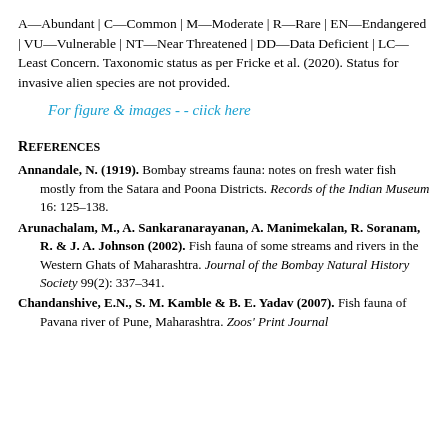A—Abundant | C—Common | M—Moderate | R—Rare | EN—Endangered | VU—Vulnerable | NT—Near Threatened | DD—Data Deficient | LC—Least Concern. Taxonomic status as per Fricke et al. (2020). Status for invasive alien species are not provided.
For figure & images - - ciick here
References
Annandale, N. (1919). Bombay streams fauna: notes on fresh water fish mostly from the Satara and Poona Districts. Records of the Indian Museum 16: 125–138.
Arunachalam, M., A. Sankaranarayanan, A. Manimekalan, R. Soranam, R. & J. A. Johnson (2002). Fish fauna of some streams and rivers in the Western Ghats of Maharashtra. Journal of the Bombay Natural History Society 99(2): 337–341.
Chandanshive, E.N., S. M. Kamble & B. E. Yadav (2007). Fish fauna of Pavana river of Pune, Maharashtra. Zoos' Print Journal